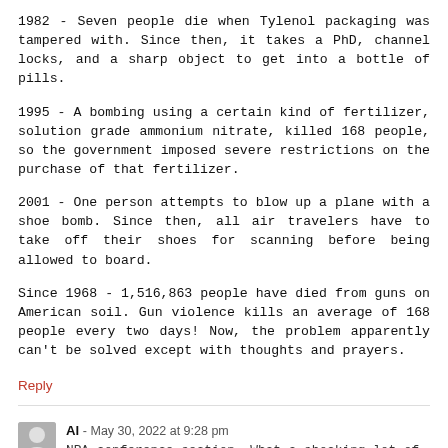1982 - Seven people die when Tylenol packaging was tampered with. Since then, it takes a PhD, channel locks, and a sharp object to get into a bottle of pills.
1995 - A bombing using a certain kind of fertilizer, solution grade ammonium nitrate, killed 168 people, so the government imposed severe restrictions on the purchase of that fertilizer.
2001 - One person attempts to blow up a plane with a shoe bomb. Since then, all air travelers have to take off their shoes for scanning before being allowed to board.
Since 1968 - 1,516,863 people have died from guns on American soil. Gun violence kills an average of 168 people every two days! Now, the problem apparently can't be solved except with thoughts and prayers.
Reply
Al - May 30, 2022 at 9:28 pm
NRA conference section. What a shocking lot of